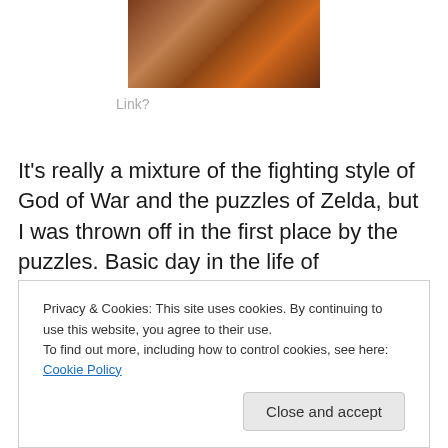[Figure (photo): Screenshot of a game scene from Darksiders showing a warrior character in a reddish-brown rocky environment]
Link?
It's really a mixture of the fighting style of God of War and the puzzles of Zelda, but I was thrown off in the first place by the puzzles. Basic day in the life of Darksiders for me?
Hey, here's a block you have to move/portal you have to
Privacy & Cookies: This site uses cookies. By continuing to use this website, you agree to their use.
To find out more, including how to control cookies, see here: Cookie Policy
Close and accept